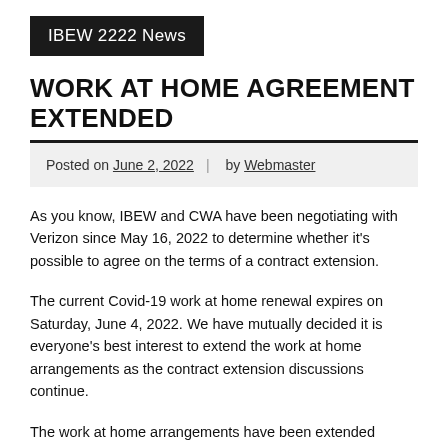IBEW 2222 News
WORK AT HOME AGREEMENT EXTENDED
Posted on June 2, 2022 | by Webmaster
As you know, IBEW and CWA have been negotiating with Verizon since May 16, 2022 to determine whether it’s possible to agree on the terms of a contract extension.
The current Covid-19 work at home renewal expires on Saturday, June 4, 2022. We have mutually decided it is everyone’s best interest to extend the work at home arrangements as the contract extension discussions continue.
The work at home arrangements have been extended